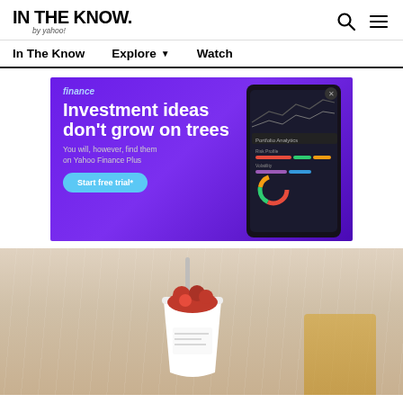IN THE KNOW. by yahoo!
In The Know   Explore ▼   Watch
[Figure (screenshot): Yahoo Finance Plus advertisement banner with purple background showing 'Investment ideas don't grow on trees. You will, however, find them on Yahoo Finance Plus. Start free trial*' with a phone mockup showing portfolio analytics app.]
[Figure (photo): Food photo showing a cup with red cherries/berries and what appears to be a cold drink or dessert in a white cup with a straw, placed on a light neutral background.]